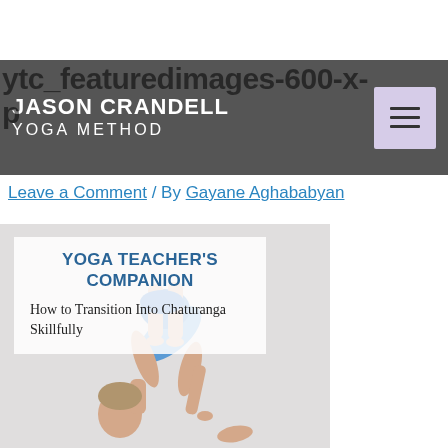ytc_featuredimages-600-x-p
JASON CRANDELL YOGA METHOD
Leave a Comment / By Gayane Aghababyan
[Figure (photo): Photo of a man performing a yoga pose (forward fold/chaturanga transition), overlaid with a semi-transparent white box containing the text 'YOGA TEACHER'S COMPANION' and 'How to Transition Into Chaturanga Skillfully']